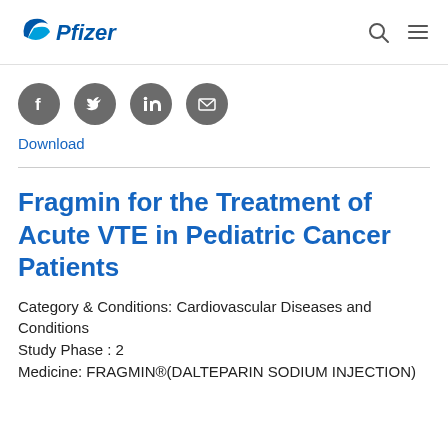[Figure (logo): Pfizer logo with blue swoosh icon and Pfizer wordmark in blue, plus search and menu icons on the right]
[Figure (infographic): Four gray circular social media icons: Facebook, Twitter, LinkedIn, and Email/envelope]
Download
Fragmin for the Treatment of Acute VTE in Pediatric Cancer Patients
Category & Conditions: Cardiovascular Diseases and Conditions
Study Phase : 2
Medicine: FRAGMIN®(DALTEPARIN SODIUM INJECTION)